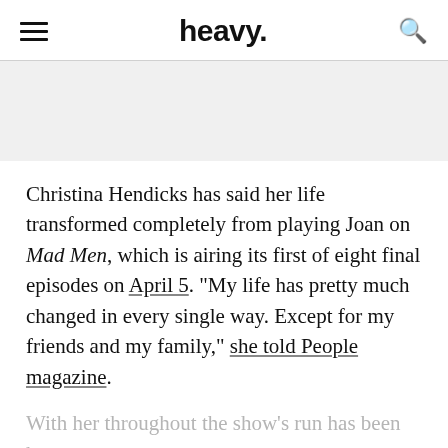heavy.
Christina Hendicks has said her life transformed completely from playing Joan on Mad Men, which is airing its first of eight final episodes on April 5. “My life has pretty much changed in every single way. Except for my friends and my family,” she told People magazine.
With her throughout the show’s run has been her